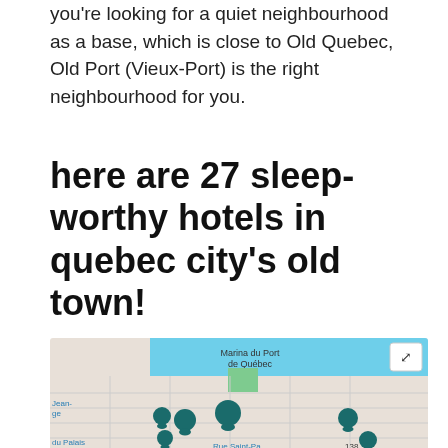you're looking for a quiet neighbourhood as a base, which is close to Old Quebec, Old Port (Vieux-Port) is the right neighbourhood for you.
here are 27 sleep-worthy hotels in quebec city's old town!
[Figure (map): Street map showing marina du Port de Quebec area with teal location pin markers scattered around old town streets including Rue Saint-Paul area and the marina waterfront.]